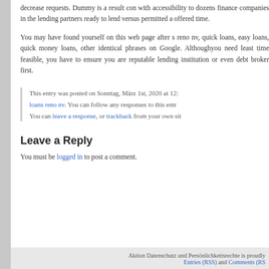decrease requests.Ummy is a result with accessibility to dozens finance companies in the lending partners ready to lend versus permitted a offered time.
You may have found yourself on this web page after s reno nv, quick loans, easy loans, quick money loans, other identical phrases on Google. Althoughyou need least time feasible, you have to ensure you are reputable lending institution or even debt broker first.
This entry was posted on Sonntag, März 1st, 2020 at 12: loans reno nv. You can follow any responses to this entr You can leave a response, or trackback from your own sit
Leave a Reply
You must be logged in to post a comment.
Aktion Datenschutz und Persönlichkeitsrechte is proudly Entries (RSS) and Comments (RS